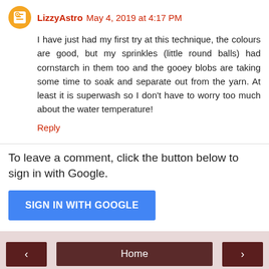LizzyAstro May 4, 2019 at 4:17 PM
I have just had my first try at this technique, the colours are good, but my sprinkles (little round balls) had cornstarch in them too and the gooey blobs are taking some time to soak and separate out from the yarn. At least it is superwash so I don't have to worry too much about the water temperature!
Reply
To leave a comment, click the button below to sign in with Google.
SIGN IN WITH GOOGLE
Home
View web version
Powered by Blogger.